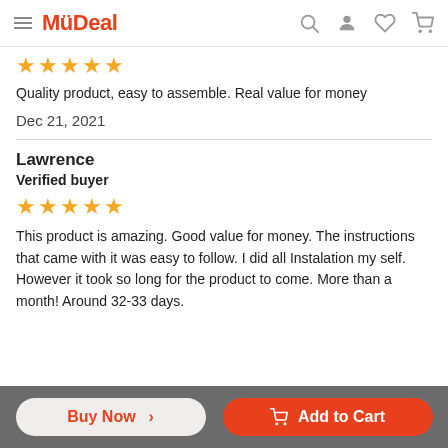MyDeal
★★★★★
Quality product, easy to assemble. Real value for money
Dec 21, 2021
Lawrence
Verified buyer
★★★★★
This product is amazing. Good value for money. The instructions that came with it was easy to follow. I did all Instalation my self. However it took so long for the product to come. More than a month! Around 32-33 days.
Buy Now >   Add to Cart